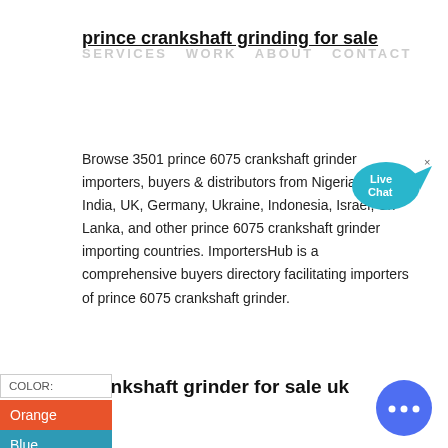prince crankshaft grinding for sale
SERVICES   WORK   ABOUT   CONTACT
Browse 3501 prince 6075 crankshaft grinder importers, buyers & distributors from Nigeria, USA, India, UK, Germany, Ukraine, Indonesia, Israel, Sri Lanka, and other prince 6075 crankshaft grinder importing countries. ImportersHub is a comprehensive buyers directory facilitating importers of prince 6075 crankshaft grinder.
[Figure (illustration): Live Chat speech bubble icon in cyan/blue]
COLOR:
Orange
Blue
Yellow
crankshaft grinder for sale uk
[Figure (illustration): Blue circular chat button with ellipsis icon]